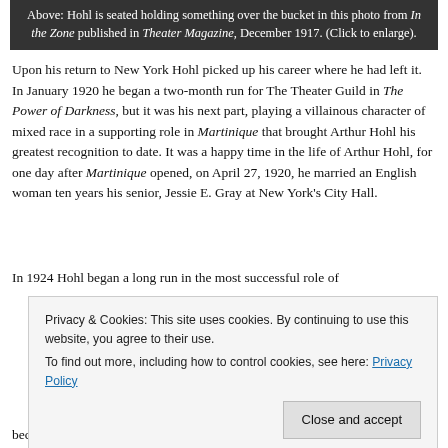Above: Hohl is seated holding something over the bucket in this photo from In the Zone published in Theater Magazine, December 1917. (Click to enlarge).
Upon his return to New York Hohl picked up his career where he had left it. In January 1920 he began a two-month run for The Theater Guild in The Power of Darkness, but it was his next part, playing a villainous character of mixed race in a supporting role in Martinique that brought Arthur Hohl his greatest recognition to date. It was a happy time in the life of Arthur Hohl, for one day after Martinique opened, on April 27, 1920, he married an English woman ten years his senior, Jessie E. Gray at New York's City Hall.
In 1924 Hohl began a long run in the most successful role of
Privacy & Cookies: This site uses cookies. By continuing to use this website, you agree to their use. To find out more, including how to control cookies, see here: Privacy Policy
because before he worked in White Cargo during the